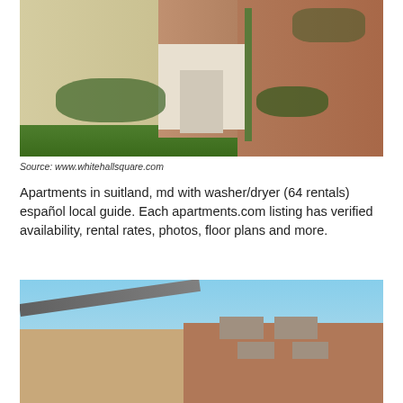[Figure (photo): Exterior photo of a brick apartment building with white columns, green lawn, walkway, and trees. Source: www.whitehallsquare.com]
Source: www.whitehallsquare.com
Apartments in suitland, md with washer/dryer (64 rentals) español local guide. Each apartments.com listing has verified availability, rental rates, photos, floor plans and more.
[Figure (photo): Exterior photo of a brick apartment building with blue sky in the background, showing roofline and windows with shutters.]